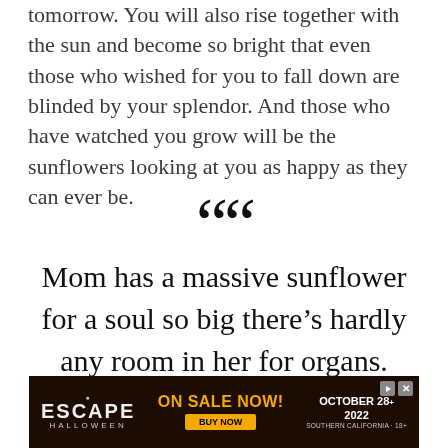tomorrow. You will also rise together with the sun and become so bright that even those who wished for you to fall down are blinded by your splendor. And those who have watched you grow will be the sunflowers looking at you as happy as they can ever be.
““
Mom has a massive sunflower for a soul so big there’s hardly any room in her for organs.
Jandy Nelson
[Figure (other): Advertisement banner for Escape Halloween event. Dark brown/black background with orange and white text. Shows 'ESCAPE HALLOWEEN' logo on left, 'ON SALE NOW! BUY NOW' in center, and 'OCTOBER 28-29 2022 SOUTHERN CALIFORNIA 18+' on right.]